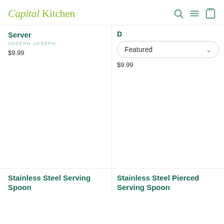Capital Kitchen
Server
JOSEPH JOSEPH
$9.99
Featured
$9.99
[Figure (screenshot): Two blank white product image placeholders side by side]
Stainless Steel Serving Spoon
Stainless Steel Pierced Serving Spoon